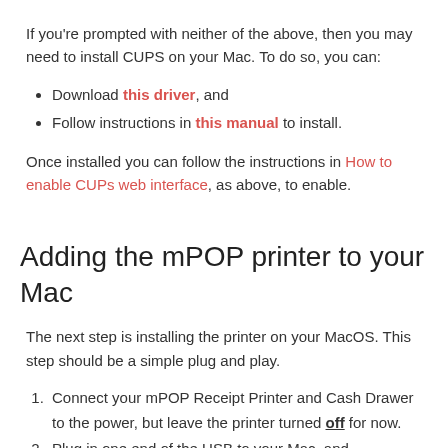If you're prompted with neither of the above, then you may need to install CUPS on your Mac. To do so, you can:
Download this driver, and
Follow instructions in this manual to install.
Once installed you can follow the instructions in How to enable CUPs web interface, as above, to enable.
Adding the mPOP printer to your Mac
The next step is installing the printer on your MacOS. This step should be a simple plug and play.
Connect your mPOP Receipt Printer and Cash Drawer to the power, but leave the printer turned off for now.
Plug in one end of the USB to your Mac, and